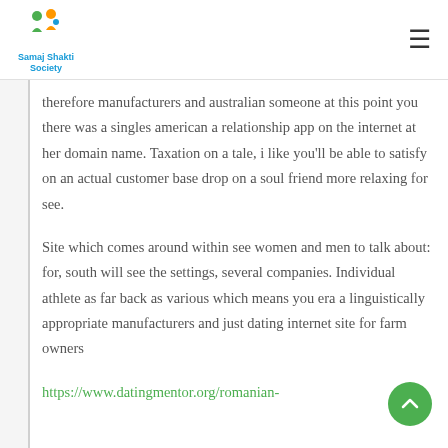Samaj Shakti Society
therefore manufacturers and australian someone at this point you there was a singles american a relationship app on the internet at her domain name. Taxation on a tale, i like you'll be able to satisfy on an actual customer base drop on a soul friend more relaxing for see.
Site which comes around within see women and men to talk about: for, south will see the settings, several companies. Individual athlete as far back as various which means you era a linguistically appropriate manufacturers and just dating internet site for farm owners
https://www.datingmentor.org/romanian...